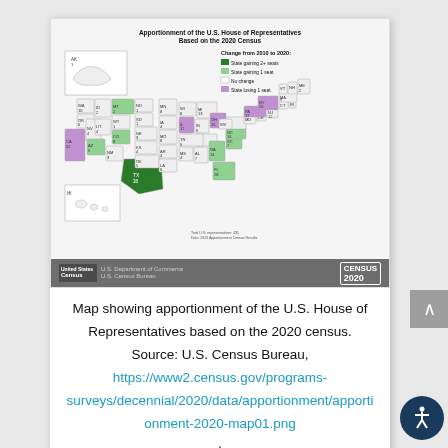[Figure (map): Map showing apportionment of the U.S. House of Representatives based on the 2020 Census. States gaining seats are shown in dark green, states gaining 1 seat in light green, no change in white/light gray, and states losing 1 seat in purple. A Census Bureau footer bar appears at the bottom with Census 2020 logo.]
Map showing apportionment of the U.S. House of Representatives based on the 2020 census. Source: U.S. Census Bureau, https://www2.census.gov/programs-surveys/decennial/2020/data/apportionment/apportionment-2020-map01.png.